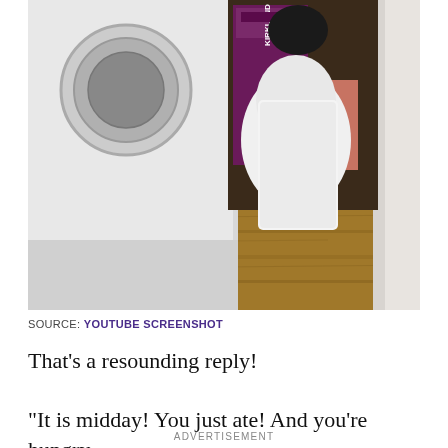[Figure (screenshot): A video screenshot showing a laundry room scene: white washing machine on left with circular door visible, a dog (mostly visible as white body/back) squeezing between the washer and a shelf with Kirkland branded products (purple/pink packaging), on a wood laminate floor. A white door frame is visible on the right.]
SOURCE: YOUTUBE SCREENSHOT
That's a resounding reply!
“It is midday! You just ate! And you’re hungry
ADVERTISEMENT